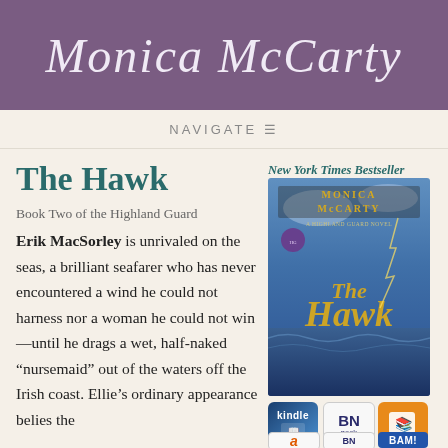Monica McCarty
NAVIGATE
The Hawk
Book Two of the Highland Guard
Erik MacSorley is unrivaled on the seas, a brilliant seafarer who has never encountered a wind he could not harness nor a woman he could not win—until he drags a wet, half-naked “nursemaid” out of the waters off the Irish coast. Ellie’s ordinary appearance belies the
New York Times Bestseller
[Figure (photo): Book cover of 'The Hawk' by Monica McCarty, A Highland Guard Novel, showing a shirtless man against a stormy sea background]
[Figure (logo): Kindle retailer button]
[Figure (logo): Barnes & Noble Nook retailer button]
[Figure (logo): Kobo retailer button (orange)]
[Figure (logo): Amazon retailer button]
[Figure (logo): Barnes & Noble retailer button]
[Figure (logo): Books-A-Million (BAM) retailer button]